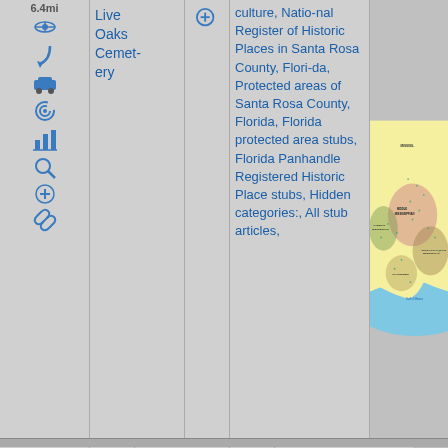6.4mi
Live Oaks Cemetery
culture, National Register of Historic Places in Santa Rosa County, Florida, Protected areas of Santa Rosa County, Florida, Florida protected area stubs, Florida Panhandle Registered Historic Place stubs, Hidden categories:, All stub articles,
[Figure (map): Map showing Mississippi culture regions including Middle Mississippian, South Appalachian Mississippian, Caddoan Mississippian, Plaquemine regions with colored overlays on a yellow background showing the Gulf of Mexico and surrounding areas]
86: 6.5mi
Emanuel Point Shipwreck Site
National Register of Historic Places in Escambia County, Florida, Shipw...
[Figure (photo): Photograph of a coastal beach scene with water and clouds in the sky, palm trees visible at the edge]